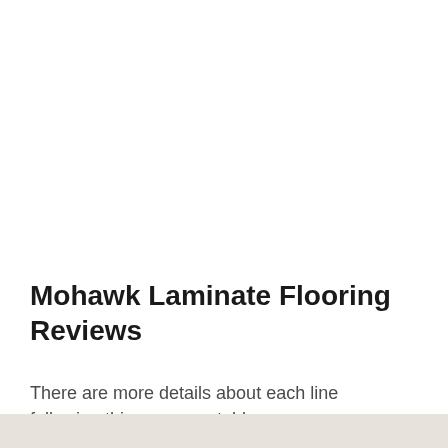Mohawk Laminate Flooring Reviews
There are more details about each line following this summary table.